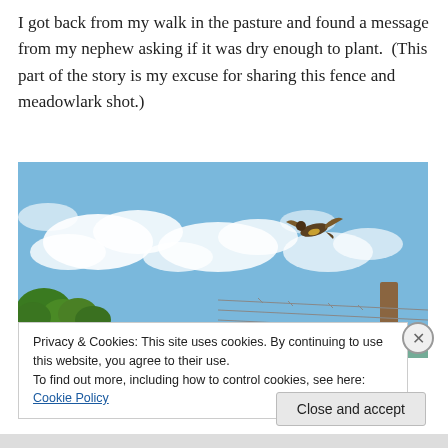I got back from my walk in the pasture and found a message from my nephew asking if it was dry enough to plant.  (This part of the story is my excuse for sharing this fence and meadowlark shot.)
[Figure (photo): A meadowlark bird in flight against a blue sky with white clouds. Green trees visible at bottom left, a wooden fence post with barbed wire at bottom right.]
Privacy & Cookies: This site uses cookies. By continuing to use this website, you agree to their use.
To find out more, including how to control cookies, see here: Cookie Policy
Close and accept